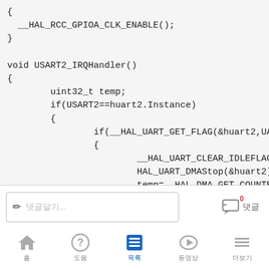[Figure (screenshot): Code editor screenshot showing C code for USART2_IRQHandler function with HAL library calls]
댓글달기... (comment input placeholder)
홈  도움  목록  동영상  더보기 (bottom navigation bar)